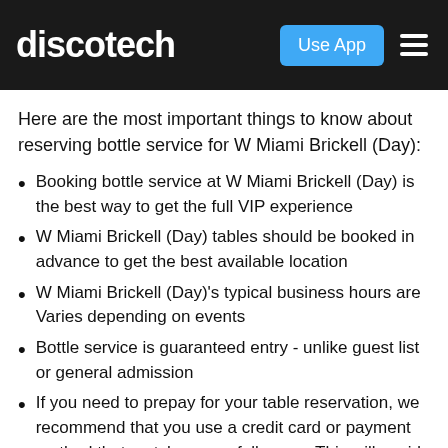discotech | Use App
Here are the most important things to know about reserving bottle service for W Miami Brickell (Day):
Booking bottle service at W Miami Brickell (Day) is the best way to get the full VIP experience
W Miami Brickell (Day) tables should be booked in advance to get the best available location
W Miami Brickell (Day)'s typical business hours are Varies depending on events
Bottle service is guaranteed entry - unlike guest list or general admission
If you need to prepay for your table reservation, we recommend that you use a credit card or payment method that matches your full name. This will avoid any possible problems at W